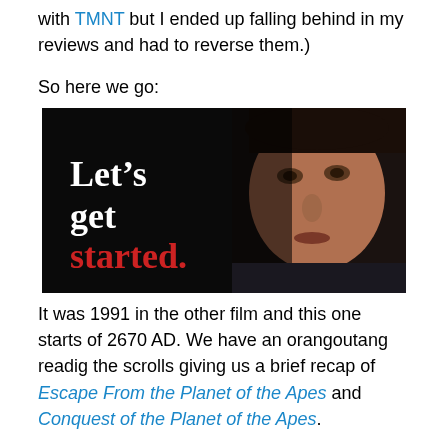with TMNT but I ended up falling behind in my reviews and had to reverse them.)
So here we go:
[Figure (photo): Dark image of a man's face on the right side against a black background, with white text reading "Let's get" and red text reading "started." on the left side of the image.]
It was 1991 in the other film and this one starts of 2670 AD. We have an orangoutang readig the scrolls giving us a brief recap of Escape From the Planet of the Apes and Conquest of the Planet of the Apes.
After that film there was a great war and the cities were destroyed. But Caesar had a son and...